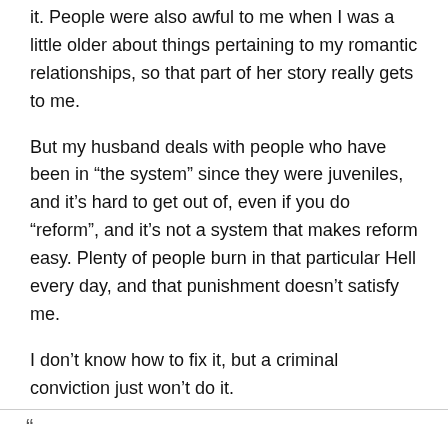it. People were also awful to me when I was a little older about things pertaining to my romantic relationships, so that part of her story really gets to me.
But my husband deals with people who have been in “the system” since they were juveniles, and it’s hard to get out of, even if you do “reform”, and it’s not a system that makes reform easy. Plenty of people burn in that particular Hell every day, and that punishment doesn’t satisfy me.
I don’t know how to fix it, but a criminal conviction just won’t do it.